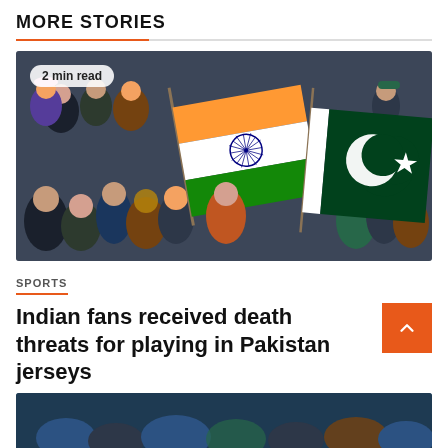MORE STORIES
[Figure (photo): Crowd of sports fans holding Indian and Pakistani flags at a cricket match]
2 min read
SPORTS
Indian fans received death threats for playing in Pakistan jerseys
September 1, 2022   HReporter
[Figure (photo): Bottom partial image of another article/story]